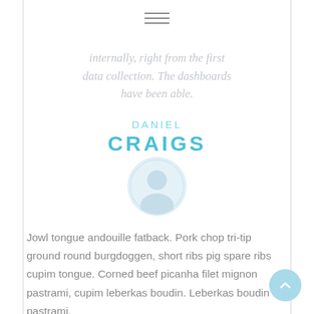[Figure (illustration): Hamburger menu icon (three horizontal lines) at the top center of the page]
internally, right from the first data collection. The dashboards have been able.
DANIEL
CRAIGS
[Figure (illustration): Circular avatar/profile image placeholder with light blue tones]
Jowl tongue andouille fatback. Pork chop tri-tip ground round burgdoggen, short ribs pig spare ribs cupim tongue. Corned beef picanha filet mignon pastrami, cupim leberkas boudin. Leberkas boudin pastrami,